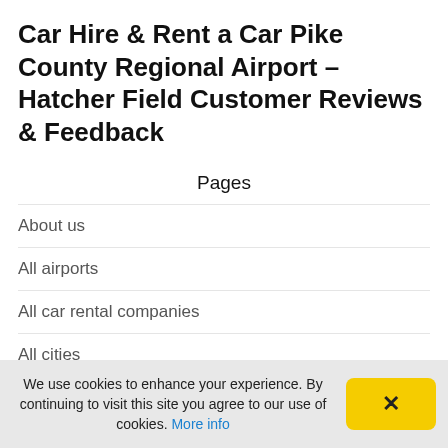Car Hire & Rent a Car Pike County Regional Airport – Hatcher Field Customer Reviews & Feedback
Pages
About us
All airports
All car rental companies
All cities
All countries
All islands and archipelagos
All regions, provinces and coasts
Amend or view your reservations
We use cookies to enhance your experience. By continuing to visit this site you agree to our use of cookies. More info